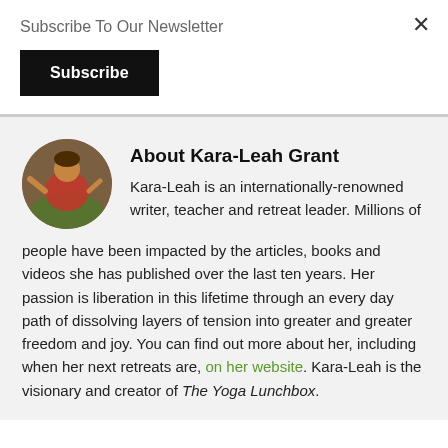Subscribe To Our Newsletter
Subscribe
About Kara-Leah Grant
Kara-Leah is an internationally-renowned writer, teacher and retreat leader. Millions of people have been impacted by the articles, books and videos she has published over the last ten years. Her passion is liberation in this lifetime through an every day path of dissolving layers of tension into greater and greater freedom and joy. You can find out more about her, including when her next retreats are, on her website. Kara-Leah is the visionary and creator of The Yoga Lunchbox.